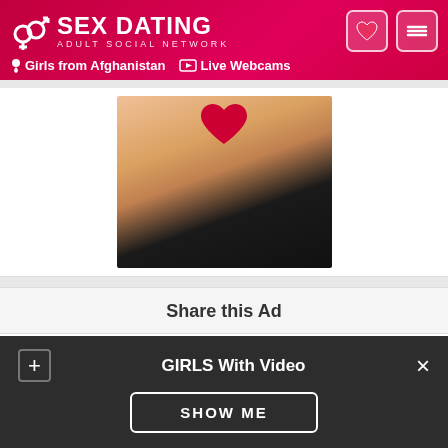SEX DATING — ADULT SOCIAL NETWORK — Girls from Afghanistan — Live Webcams
[Figure (photo): Partial photo of a person against dark background]
Share this Ad
[Figure (infographic): Social share buttons: Facebook, Twitter, Google+, LinkedIn]
GIRLS With Video — SHOW ME